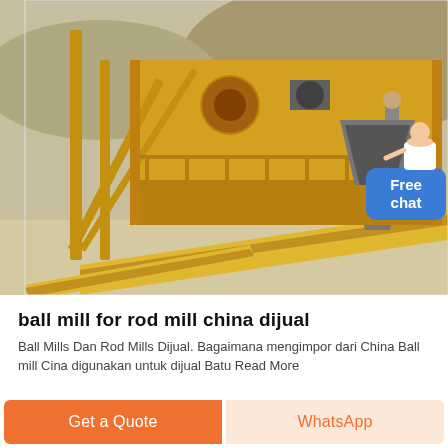[Figure (photo): Industrial mining/crushing equipment — large yellow ball mill or rod mill machine with conveyor belts, metal scaffolding and framework, on a sandy outdoor site. A worker is visible on the upper platform. A 'Free chat' chat-bubble widget with an avatar appears in the top-right corner.]
ball mill for rod mill china dijual
Ball Mills Dan Rod Mills Dijual. Bagaimana mengimpor dari China Ball mill Cina digunakan untuk dijual Batu Read More
Get a Quote
WhatsApp